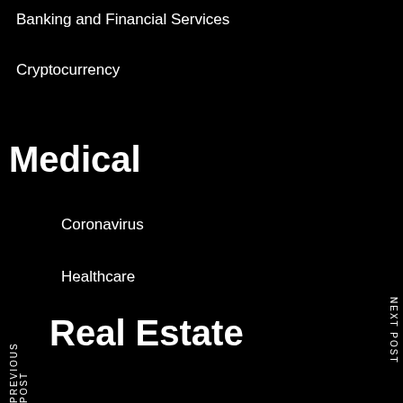Banking and Financial Services
Cryptocurrency
Medical
Coronavirus
Healthcare
Real Estate
Commercial Real Estate
Residential Real Estate
Lifestyle
PREVIOUS POST
NEXT POST